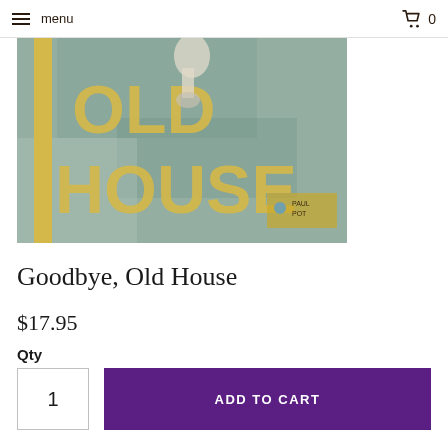menu  0
[Figure (illustration): Book cover for 'Goodbye, Old House' showing large yellow text 'OLD HOUSE' on a muted blue-green painted background with a partial figure and a yellow vertical stripe on the left side.]
Goodbye, Old House
$17.95
Qty
1
ADD TO CART